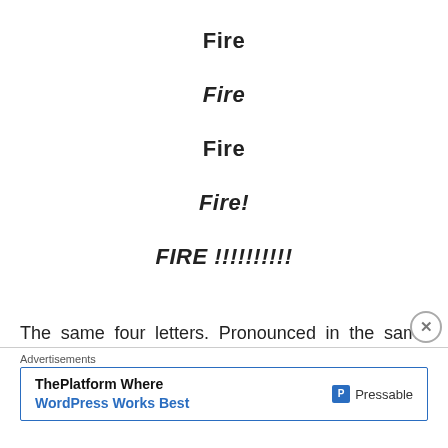Fire
Fire
Fire
Fire!
FIRE !!!!!!!!!!
The same four letters. Pronounced in the same way and even in print you feel the difference. Therefore you can draw different meanings, memories and elicit varied responses to motivate, manage, or manipulate others
Advertisements
ThePlatform Where WordPress Works Best — Pressable